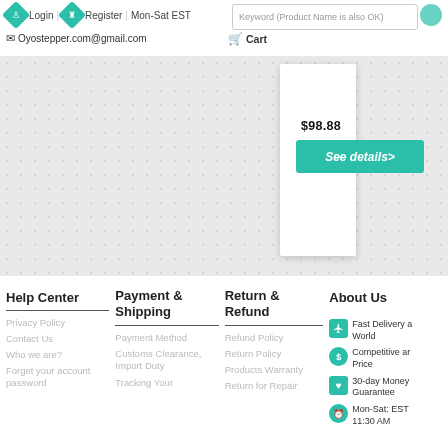Login | Register | Mon-Sat EST | Oyostepper.com@gmail.com | Cart | Keyword (Product Name is also OK)
[Figure (screenshot): E-commerce website product listing page partial view showing price $98.88 and See details button]
Help Center
Payment & Shipping
Return & Refund
About Us
Privacy Policy
Contact Us
Who we are?
Forget your account password
Payment Method
Customs Clearance, Import Duty
Tracking Your
Refund Policy
Return Policy
Products Warranty
Return for Repair
Fast Delivery all World
Competitive and Price
30-day Money Guarantee
Mon-Sat: EST 11:30 AM